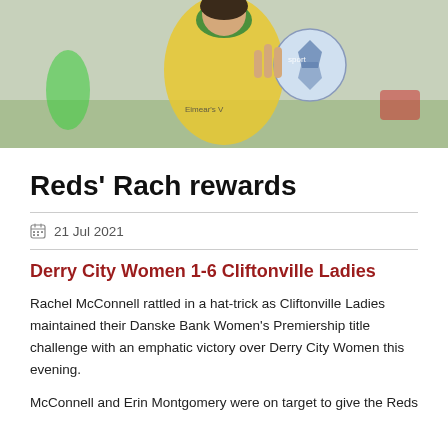[Figure (photo): A female soccer player in a yellow and green jersey holding a soccer ball and holding up three fingers, smiling, with other players in the background on a sports pitch.]
Reds' Rach rewards
21 Jul 2021
Derry City Women 1-6 Cliftonville Ladies
Rachel McConnell rattled in a hat-trick as Cliftonville Ladies maintained their Danske Bank Women's Premiership title challenge with an emphatic victory over Derry City Women this evening.
McConnell and Erin Montgomery were on target to give the Reds